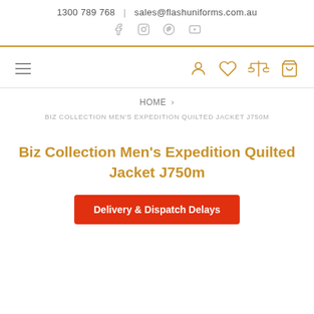1300 789 768 | sales@flashuniforms.com.au
[Figure (other): Social media icons: Facebook, Instagram, Pinterest, YouTube]
[Figure (other): Navigation bar with hamburger menu on left and account, wishlist, compare, cart icons on right in orange/gold color]
HOME ›
BIZ COLLECTION MEN'S EXPEDITION QUILTED JACKET J750M
Biz Collection Men's Expedition Quilted Jacket J750m
Delivery & Dispatch Delays